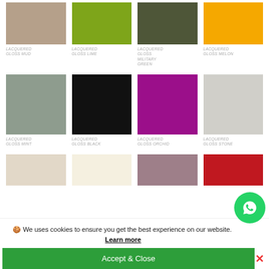[Figure (illustration): Color swatches grid for lacquered gloss paint colors. Row 1: Mud (tan), Lime (olive green), Military Green (dark olive), Melon (orange). Row 2: Mint (sage green), Black (near black), Orchid (magenta/purple), Stone (light gray). Row 3 (partial): Linen/cream, Ivory/off-white, Mauve/purple-gray, Red.]
We uses cookies to ensure you get the best experience website. Learn more
Accept & Close